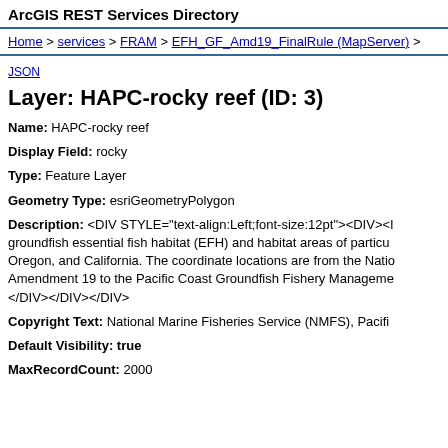ArcGIS REST Services Directory
Home > services > FRAM > EFH_GF_Amd19_FinalRule (MapServer) >
JSON
Layer: HAPC-rocky reef (ID: 3)
Name: HAPC-rocky reef
Display Field: rocky
Type: Feature Layer
Geometry Type: esriGeometryPolygon
Description: <DIV STYLE="text-align:Left;font-size:12pt"><DIV><I groundfish essential fish habitat (EFH) and habitat areas of particu Oregon, and California. The coordinate locations are from the Natio Amendment 19 to the Pacific Coast Groundfish Fishery Manageme </DIV></DIV></DIV>
Copyright Text: National Marine Fisheries Service (NMFS), Pacifi
Default Visibility: true
MaxRecordCount: 2000